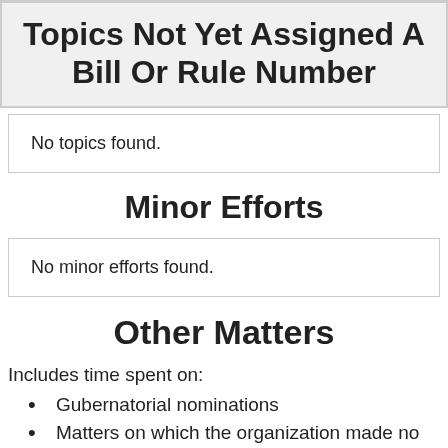Topics Not Yet Assigned A Bill Or Rule Number
No topics found.
Minor Efforts
No minor efforts found.
Other Matters
Includes time spent on:
Gubernatorial nominations
Matters on which the organization made no lobbying communication